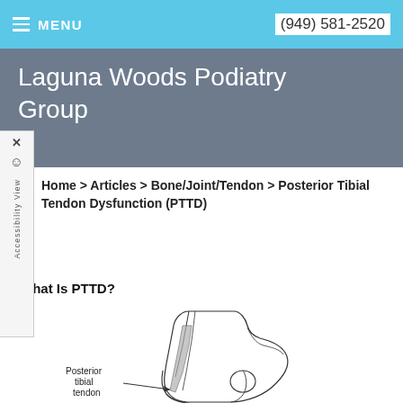MENU   (949) 581-2520
Laguna Woods Podiatry Group
Accessibility View
Home > Articles > Bone/Joint/Tendon > Posterior Tibial Tendon Dysfunction (PTTD)
What Is PTTD?
[Figure (illustration): Medical illustration of the foot and ankle showing the posterior tibial tendon, with label 'Posterior tibial tendon' indicated by a line pointing to the tendon area.]